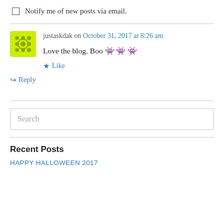Notify me of new posts via email.
justaskdak on October 31, 2017 at 8:26 am
Love the blog. Boo 👾 👾 👾
Like
Reply
Search
Recent Posts
HAPPY HALLOWEEN 2017